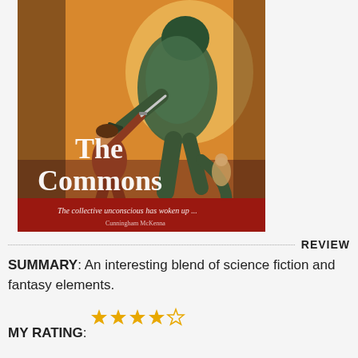[Figure (illustration): Book cover for 'The Commons' showing a fantasy battle scene with a large reptilian armored creature and a human warrior. Title 'The Commons' in large white serif text. Subtitle reads 'The collective unconscious has woken up ...' with author name below.]
REVIEW
SUMMARY: An interesting blend of science fiction and fantasy elements.
MY RATING: ★★★★☆